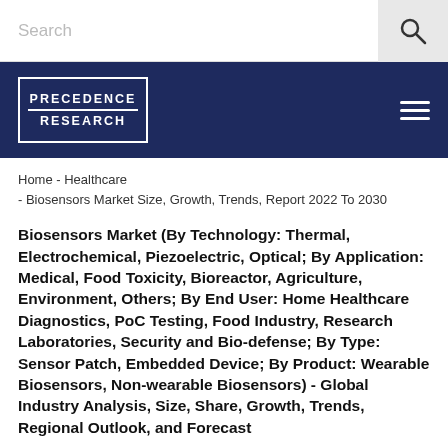Search
[Figure (logo): Precedence Research logo in navy blue box with white border and text]
Home - Healthcare - Biosensors Market Size, Growth, Trends, Report 2022 To 2030
Biosensors Market (By Technology: Thermal, Electrochemical, Piezoelectric, Optical; By Application: Medical, Food Toxicity, Bioreactor, Agriculture, Environment, Others; By End User: Home Healthcare Diagnostics, PoC Testing, Food Industry, Research Laboratories, Security and Bio-defense; By Type: Sensor Patch, Embedded Device; By Product: Wearable Biosensors, Non-wearable Biosensors) - Global Industry Analysis, Size, Share, Growth, Trends, Regional Outlook, and Forecast